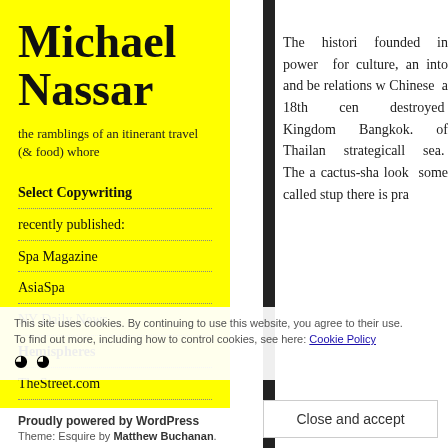Michael Nassar
the ramblings of an itinerant travel (& food) whore
Select Copywriting
recently published:
Spa Magazine
AsiaSpa
NY Daily News
Hemispheres
TheStreet.com
The histori... founded in... power for... culture, an... into and be... relations w... Chinese a... 18th cen... destroyed... Kingdom... Bangkok.... of Thailan... strategicall... sea. The a... cactus-sha... look some... called stup... there is pra...
This site uses cookies. By continuing to use this website, you agree to their use. To find out more, including how to control cookies, see here: Cookie Policy
Proudly powered by WordPress
Theme: Esquire by Matthew Buchanan.
Close and accept